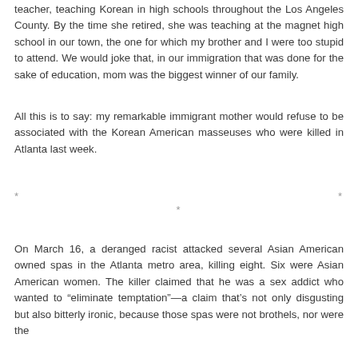teacher, teaching Korean in high schools throughout the Los Angeles County. By the time she retired, she was teaching at the magnet high school in our town, the one for which my brother and I were too stupid to attend. We would joke that, in our immigration that was done for the sake of education, mom was the biggest winner of our family.
All this is to say: my remarkable immigrant mother would refuse to be associated with the Korean American masseuses who were killed in Atlanta last week.
* * *
On March 16, a deranged racist attacked several Asian American owned spas in the Atlanta metro area, killing eight. Six were Asian American women. The killer claimed that he was a sex addict who wanted to "eliminate temptation"—a claim that's not only disgusting but also bitterly ironic, because those spas were not brothels, nor were the